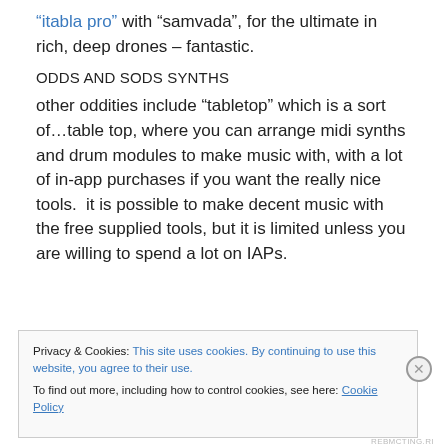“itabla pro” with “samvada”, for the ultimate in rich, deep drones – fantastic.
ODDS AND SODS SYNTHS
other oddities include “tabletop” which is a sort of…table top, where you can arrange midi synths and drum modules to make music with, with a lot of in-app purchases if you want the really nice tools.  it is possible to make decent music with the free supplied tools, but it is limited unless you are willing to spend a lot on IAPs.
Privacy & Cookies: This site uses cookies. By continuing to use this website, you agree to their use.
To find out more, including how to control cookies, see here: Cookie Policy
Close and accept